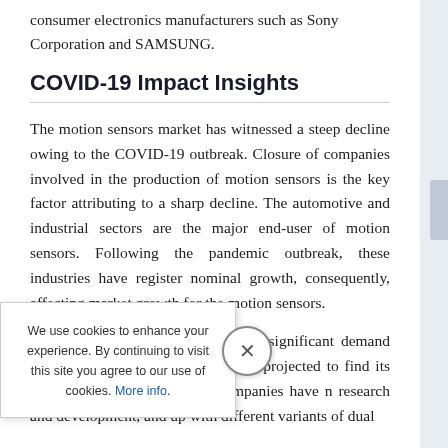consumer electronics manufacturers such as Sony Corporation and SAMSUNG.
COVID-19 Impact Insights
The motion sensors market has witnessed a steep decline owing to the COVID-19 outbreak. Closure of companies involved in the production of motion sensors is the key factor attributing to a sharp decline. The automotive and industrial sectors are the major end-user of motion sensors. Following the pandemic outbreak, these industries have register nominal growth, consequently, affecting market growth for the motion sensors.
However, the market has witnessed significant demand from g COVID-19. Further, with is projected to find its application vell. In addition, companies have n research and development, and up with different variants of dual
We use cookies to enhance your experience. By continuing to visit this site you agree to our use of cookies. More info.